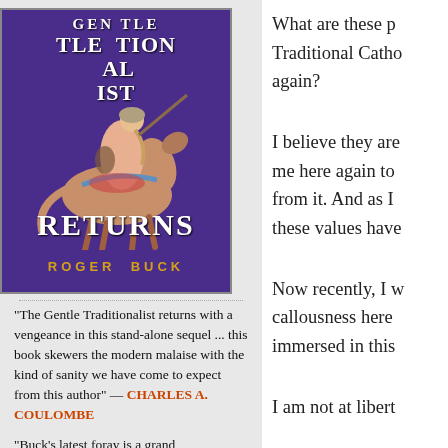[Figure (illustration): Book cover of 'The Gentle Traditionalist Returns' by Roger Buck, purple background with a medieval knight on horseback, white title text and gold author name]
"The Gentle Traditionalist returns with a vengeance in this stand-alone sequel ... this book skewers the modern malaise with the kind of sanity we have come to expect from this author" — CHARLES A. COULOMBE
"Buck's latest foray is a grand
What are these p... Traditional Catho... again?
I believe they are... me here again to... from it. And as I... these values have...
Now recently, I w... callousness here... immersed in this...
I am not at libert...